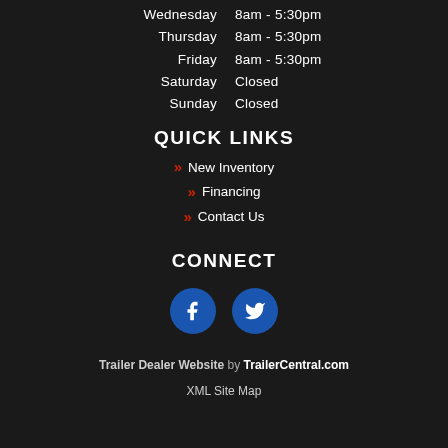Wednesday  8am - 5:30pm
Thursday  8am - 5:30pm
Friday  8am - 5:30pm
Saturday  Closed
Sunday  Closed
QUICK LINKS
» New Inventory
» Financing
» Contact Us
CONNECT
[Figure (illustration): Facebook and Twitter social media icon buttons (blue circles with white f and bird icons)]
Trailer Dealer Website by TrailerCentral.com
XML Site Map